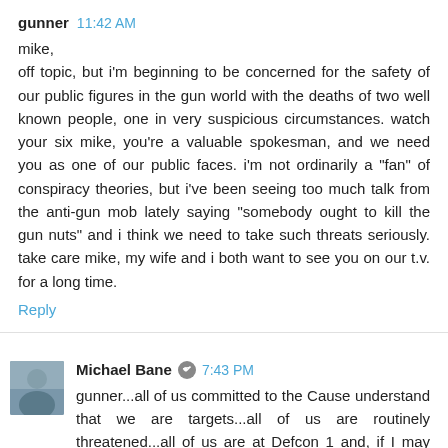gunner  11:42 AM
mike,
off topic, but i'm beginning to be concerned for the safety of our public figures in the gun world with the deaths of two well known people, one in very suspicious circumstances. watch your six mike, you're a valuable spokesman, and we need you as one of our public faces. i'm not ordinarily a "fan" of conspiracy theories, but i've been seeing too much talk from the anti-gun mob lately saying "somebody ought to kill the gun nuts" and i think we need to take such threats seriously. take care mike, my wife and i both want to see you on our t.v. for a long time.
Reply
Michael Bane  7:43 PM
gunner...all of us committed to the Cause understand that we are targets...all of us are routinely threatened...all of us are at Defcon 1 and, if I may coin a phrase, rolling serious heavy metal...thank you for your concern...and may God bless us and protect us all!